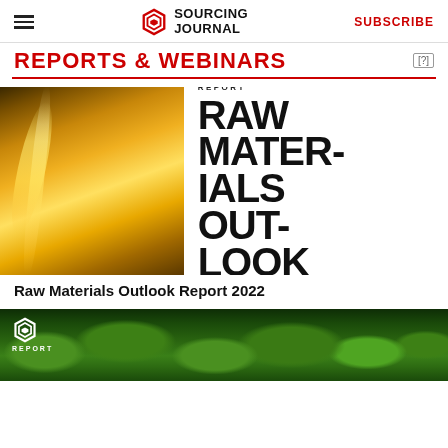SOURCING JOURNAL | SUBSCRIBE
REPORTS & WEBINARS
[Figure (illustration): Report cover image showing golden/oil liquid on the left side and large bold text RAW MATERIALS OUTLOOK on white background with Sourcing Journal REPORT logo]
Raw Materials Outlook Report 2022
[Figure (photo): Aerial view of dense green forest canopy with Sourcing Journal REPORT logo overlay in white]